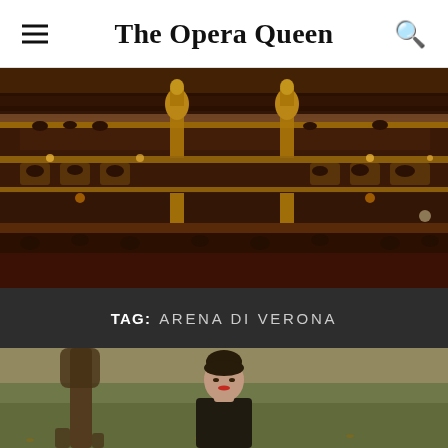The Opera Queen
[Figure (photo): Interior of an ornate opera house showing multiple gilded balconies filled with audience members, gold decorative columns and statues, warm amber lighting]
TAG: ARENA DI VERONA
[Figure (photo): A woman in a black outfit standing outdoors on a grassy area with a tree in the background, wearing red lipstick with dark hair pinned up]